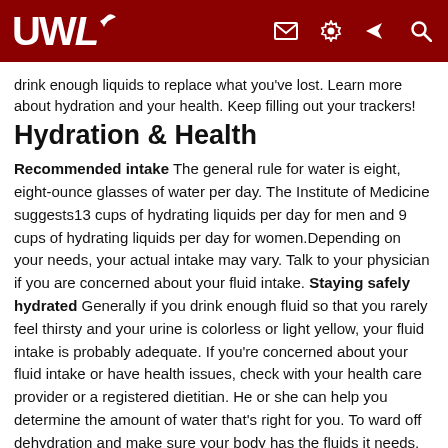UWL [logo with navigation icons: email, settings, bird/navigation, search]
drink enough liquids to replace what you've lost. Learn more about hydration and your health. Keep filling out your trackers!
Hydration & Health
Recommended intake The general rule for water is eight, eight-ounce glasses of water per day. The Institute of Medicine suggests13 cups of hydrating liquids per day for men and 9 cups of hydrating liquids per day for women.Depending on your needs, your actual intake may vary. Talk to your physician if you are concerned about your fluid intake. Staying safely hydrated Generally if you drink enough fluid so that you rarely feel thirsty and your urine is colorless or light yellow, your fluid intake is probably adequate. If you're concerned about your fluid intake or have health issues, check with your health care provider or a registered dietitian. He or she can help you determine the amount of water that's right for you. To ward off dehydration and make sure your body has the fluids it needs, make water your beverage of choice. It is also a good idea to drink a glass of water or other calorie-free or low-calorie beverage with each meal and between each meal as well as